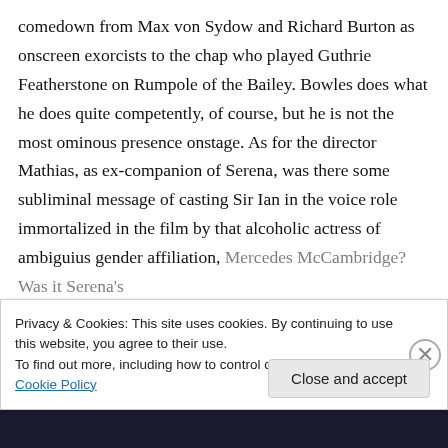comedown from Max von Sydow and Richard Burton as onscreen exorcists to the chap who played Guthrie Featherstone on Rumpole of the Bailey. Bowles does what he does quite competently, of course, but he is not the most ominous presence onstage. As for the director Mathias, as ex-companion of Serena, was there some subliminal message of casting Sir Ian in the voice role immortalized in the film by that alcoholic actress of ambiguius gender affiliation, Mercedes McCambridge? Was it Serena's
Privacy & Cookies: This site uses cookies. By continuing to use this website, you agree to their use.
To find out more, including how to control cookies, see here: Cookie Policy